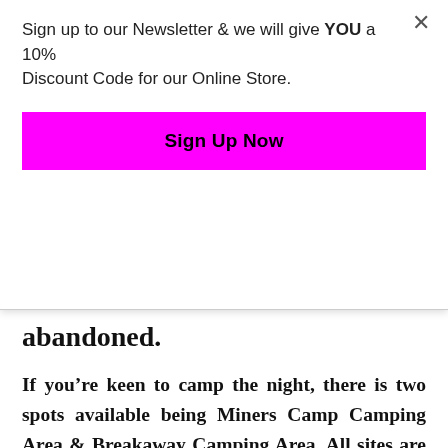Sign up to our Newsletter & we will give YOU a 10% Discount Code for our Online Store.
[Figure (other): Magenta/pink button labeled 'Sign Up Now']
abandoned.
If you're keen to camp the night, there is two spots available being Miners Camp Camping Area & Breakaway Camping Area. All sites are suitable for caravans and campers however the facilities differ between the two spots. Miners Camping Area has 10 sites available and is free; however during peak wildflower season the cost is $7 per person per night. No animals are